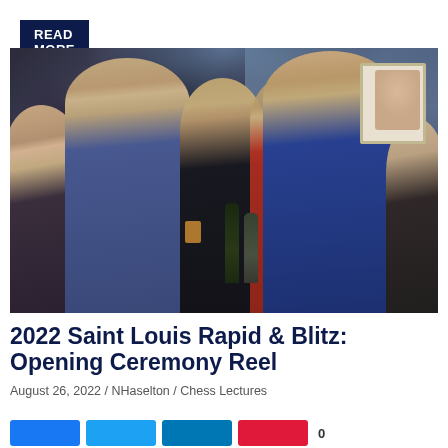READ MORE
[Figure (photo): Group of people at a chess event opening ceremony, conversing and holding drinks in an indoor venue]
2022 Saint Louis Rapid & Blitz: Opening Ceremony Reel
August 26, 2022 / NHaselton / Chess Lectures